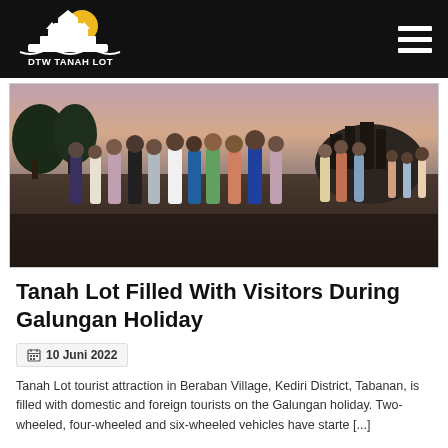DTW TANAH LOT
[Figure (photo): Group of tourists standing on a dark volcanic sand beach at Tanah Lot, Bali, during the Galungan holiday. Several people are posing for photos, with a rocky coastal temple visible in the background. The sky is a dusky pink/purple hue at sunset.]
Tanah Lot Filled With Visitors During Galungan Holiday
10 Juni 2022
Tanah Lot tourist attraction in Beraban Village, Kediri District, Tabanan, is filled with domestic and foreign tourists on the Galungan holiday. Two-wheeled, four-wheeled and six-wheeled vehicles have starte [...]